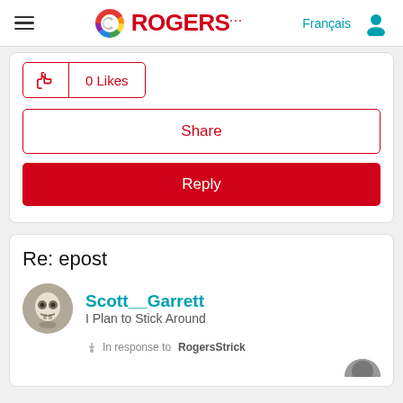[Figure (logo): Rogers logo with rainbow circular icon and red ROGERS text]
[Figure (other): Thumbs up icon with 0 Likes button in red border]
Share
Reply
Re: epost
[Figure (photo): Skull avatar for user Scott__Garrett]
Scott__Garrett
I Plan to Stick Around
In response to RogersStrick